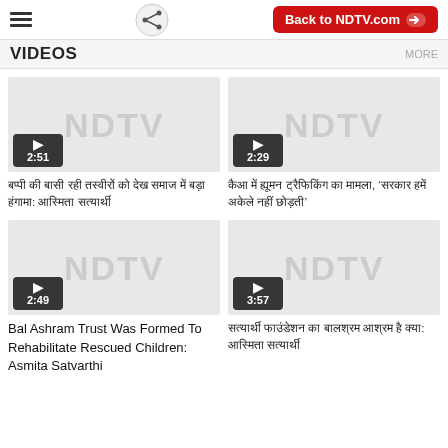VIDEOS | MORE
[Figure (screenshot): NDTV video thumbnail with duration badge showing 2:51]
Hindi text (Devanagari script) - video title 1
[Figure (screenshot): NDTV video thumbnail with duration badge showing 2:29]
Hindi text (Devanagari script) - video title 2
[Figure (screenshot): NDTV video thumbnail with duration badge showing 2:49]
Bal Ashram Trust Was Formed To Rehabilitate Rescued Children: Asmita Satvarthi
[Figure (screenshot): NDTV video thumbnail with duration badge showing 3:57]
Hindi text (Devanagari script) - video title 4